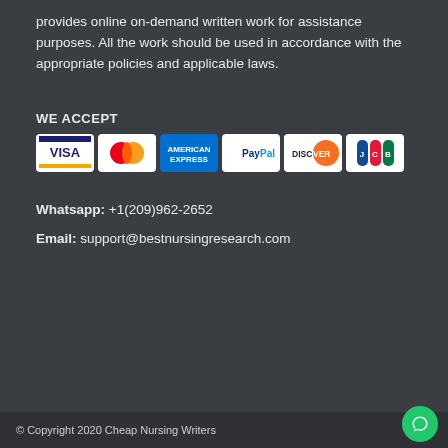provides online on-demand written work for assistance purposes. All the work should be used in accordance with the appropriate policies and applicable laws.
WE ACCEPT
[Figure (other): Payment method icons: Visa, MasterCard, American Express, PayPal, Discover, JCB]
Whatsapp: +1(209)962-2652
Email: support@bestnursingresearch.com
© Copyright 2020 Cheap Nursing Writers